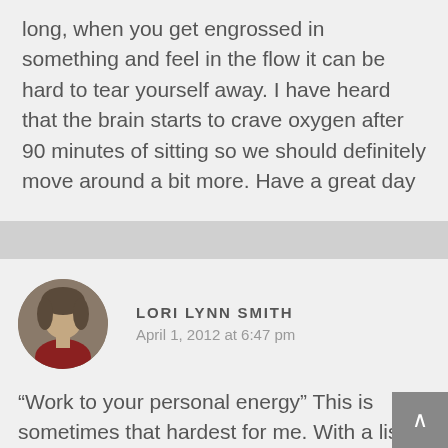long, when you get engrossed in something and feel in the flow it can be hard to tear yourself away. I have heard that the brain starts to crave oxygen after 90 minutes of sitting so we should definitely move around a bit more. Have a great day
LORI LYNN SMITH
April 1, 2012 at 6:47 pm
“Work to your personal energy” This is sometimes that hardest for me. With a list of responsibilities and obligations